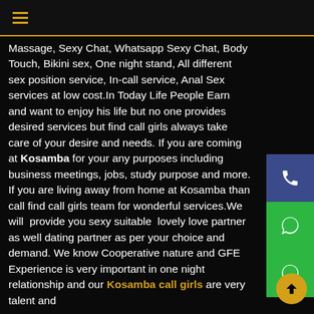≡
Massage, Sexy Chat, Whatsapp Sexy Chat, Body Touch, Bikini sex, One night stand, All different sex position service, In-call service, Anal Sex services at low cost.In Today Life People Earn and want to enjoy his life but no one provides desired services but find call girls always take care of your desire and needs. If you are coming at Kosamba for your any purposes including business meetings, jobs, study purpose and more. If you are living away from home at Kosamba than call find call girls team for wonderful services.We will provide you sexy suitable lovely love partner as well dating partner as per your choice and demand. We know Cooperative nature and GFE Experience is very important in one night relationship and our Kosamba call girls are very talent and